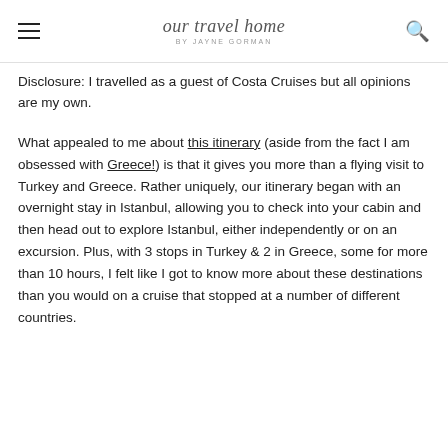our travel home by Jayne Gorman
Disclosure: I travelled as a guest of Costa Cruises but all opinions are my own.
What appealed to me about this itinerary (aside from the fact I am obsessed with Greece!) is that it gives you more than a flying visit to Turkey and Greece. Rather uniquely, our itinerary began with an overnight stay in Istanbul, allowing you to check into your cabin and then head out to explore Istanbul, either independently or on an excursion. Plus, with 3 stops in Turkey & 2 in Greece, some for more than 10 hours, I felt like I got to know more about these destinations than you would on a cruise that stopped at a number of different countries.